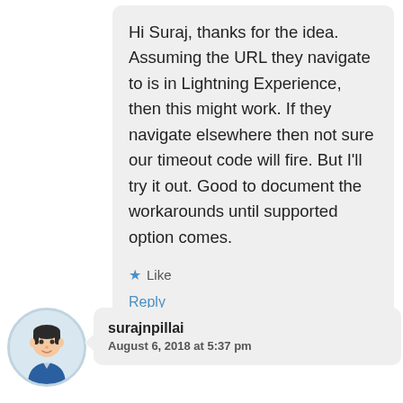Hi Suraj, thanks for the idea. Assuming the URL they navigate to is in Lightning Experience, then this might work. If they navigate elsewhere then not sure our timeout code will fire. But I'll try it out. Good to document the workarounds until supported option comes.
★ Like
Reply
[Figure (illustration): Circular avatar of a cartoon male figure with dark hair, wearing a blue shirt]
surajnpillai
August 6, 2018 at 5:37 pm